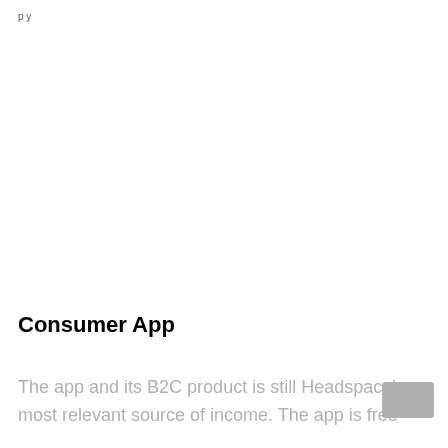p y
Consumer App
The app and its B2C product is still Headspace's most relevant source of income. The app is free